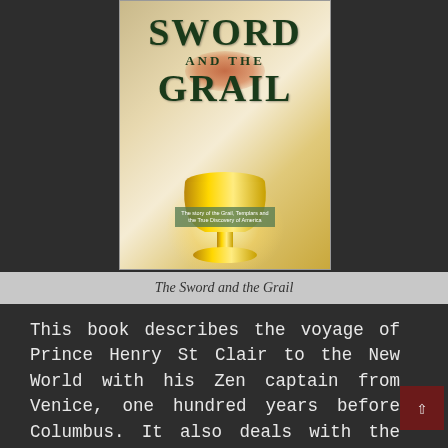[Figure (photo): Book cover of 'The Sword and the Grail' showing a golden chalice/grail cup with glowing light effect and floral elements, with title text in dark green serif font]
The Sword and the Grail
This book describes the voyage of Prince Henry St Clair to the New World with his Zen captain from Venice, one hundred years before Columbus. It also deals with the building of Rosslyn castle and chapel.